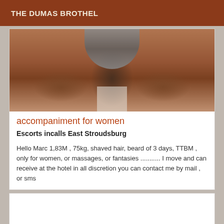THE DUMAS BROTHEL
[Figure (photo): Close-up photo of a person from behind wearing gray underwear, showing skin tones]
accompaniment for women
Escorts incalls East Stroudsburg
Hello Marc 1,83M , 75kg, shaved hair, beard of 3 days, TTBM , only for women, or massages, or fantasies ........... I move and can receive at the hotel in all discretion you can contact me by mail , or sms